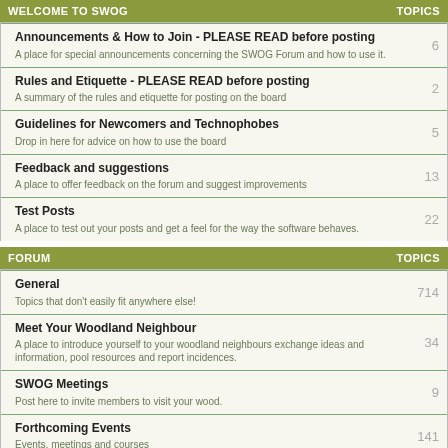WELCOME TO SWOG | TOPICS
Announcements & How to Join - PLEASE READ before posting | A place for special announcements concerning the SWOG Forum and how to use it. | 6
Rules and Etiquette - PLEASE READ before posting | A summary of the rules and etiquette for posting on the board | 2
Guidelines for Newcomers and Technophobes | Drop in here for advice on how to use the board | 5
Feedback and suggestions | A place to offer feedback on the forum and suggest improvements | 13
Test Posts | A place to test out your posts and get a feel for the way the software behaves. | 22
FORUM | TOPICS
General | Topics that don't easily fit anywhere else! | 714
Meet Your Woodland Neighbour | A place to introduce yourself to your woodland neighbours exchange ideas and information, pool resources and report incidences. | 34
SWOG Meetings | Post here to invite members to visit your wood. | 9
Forthcoming Events | Events, meetings and courses | 141